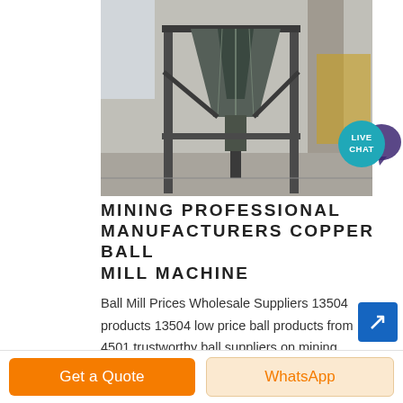[Figure (photo): Industrial ball mill machine inside a factory building, showing a large conical/hopper-shaped metal vessel on a steel frame structure.]
[Figure (other): Live Chat badge — circular teal/blue speech bubble icon with text LIVE CHAT in white.]
MINING PROFESSIONAL MANUFACTURERS COPPER BALL MILL MACHINE
Ball Mill Prices Wholesale Suppliers 13504 products 13504 low price ball products from 4501 trustworthy ball suppliers on mining professional manufacturers copper ball mill machine mining equipment mine machine planetary ball mill for gold mine machinery mill for ...
[Figure (other): Blue square button with white arrow/link icon pointing upper-right.]
Get a Quote
WhatsApp